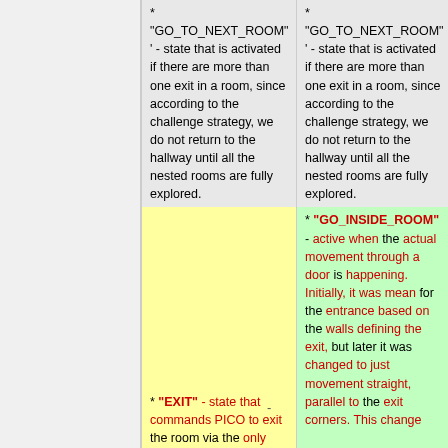* "GO_TO_NEXT_ROOM" ' - state that is activated if there are more than one exit in a room, since according to the challenge strategy, we do not return to the hallway until all the nested rooms are fully explored.
* "GO_TO_NEXT_ROOM" ' - state that is activated if there are more than one exit in a room, since according to the challenge strategy, we do not return to the hallway until all the nested rooms are fully explored.
* "EXIT" - state that commands PICO to exit the room via the only exit is has.
* "GO_INSIDE_ROOM" - active when the actual movement through a door is happening. Initially, it was mean for the entrance based on the walls defining the exit, but later it was changed to just movement straight, parallel to the exit corners. This change...